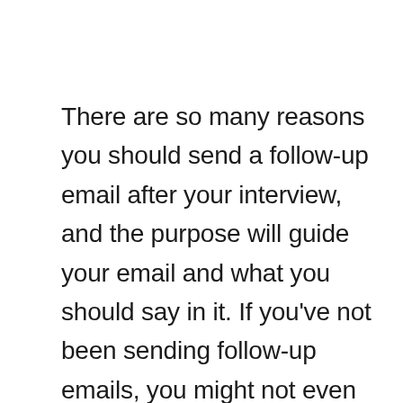There are so many reasons you should send a follow-up email after your interview, and the purpose will guide your email and what you should say in it. If you've not been sending follow-up emails, you might not even know why you should send these emails. Well, that's why this piece is vital.